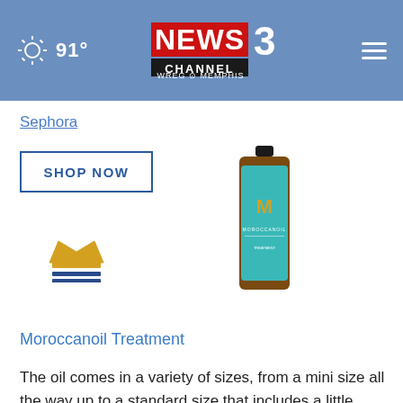91° NEWS 3 CHANNEL WREG MEMPHIS
Sephora
SHOP NOW
[Figure (photo): Moroccanoil Treatment hair oil bottle with teal label]
[Figure (logo): Crown icon with two blue horizontal bars below it]
Moroccanoil Treatment
The oil comes in a variety of sizes, from a mini size all the way up to a standard size that includes a little